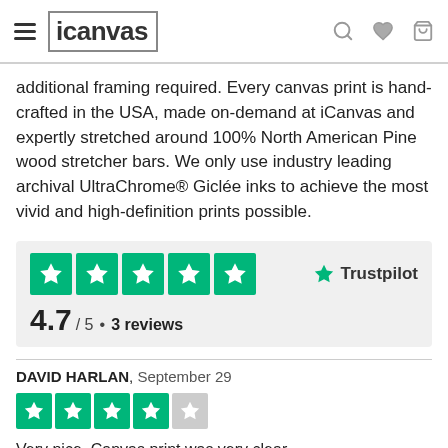iCanvas
additional framing required. Every canvas print is hand-crafted in the USA, made on-demand at iCanvas and expertly stretched around 100% North American Pine wood stretcher bars. We only use industry leading archival UltraChrome® Giclée inks to achieve the most vivid and high-definition prints possible.
[Figure (other): Trustpilot rating widget showing 5 green star boxes and Trustpilot logo. Rating: 4.7/5 • 3 reviews]
DAVID HARLAN, September 29
[Figure (other): 4-star review rating showing 4 green star boxes and 1 grey star box]
Very nice. Canvas print was very clear.